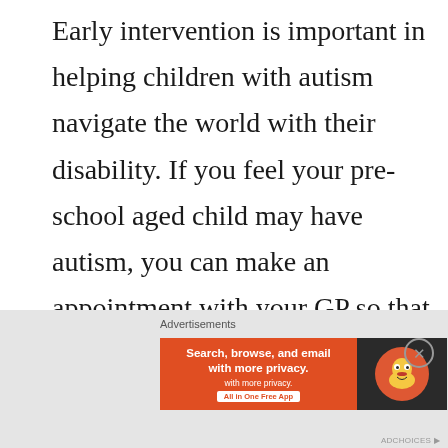Early intervention is important in helping children with autism navigate the world with their disability. If you feel your pre-school aged child may have autism, you can make an appointment with your GP so that they can conduct a screening interview called M-CHAT. If your child is school-aged you can make an appointment with the school's SENCO team so that they can observe and screen your child for autism. Once your child has been screened they will be referred to a range of specialists in order to recieve a dianosis.
Advertisements — Search, browse, and email with more privacy. All in One Free App — DuckDuckGo